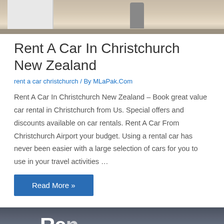[Figure (photo): Top portion of an airport or car rental interior photo showing tiled floor and a cylindrical trash can]
Rent A Car In Christchurch New Zealand
rent a car christchurch / By MLaPak.Com
Rent A Car In Christchurch New Zealand – Book great value car rental in Christchurch from Us. Special offers and discounts available on car rentals. Rent A Car From Christchurch Airport your budget. Using a rental car has never been easier with a large selection of cars for you to use in your travel activities …
Read More »
[Figure (photo): Bottom portion of a car rental sign showing partial letters 'Re' in white on dark background]